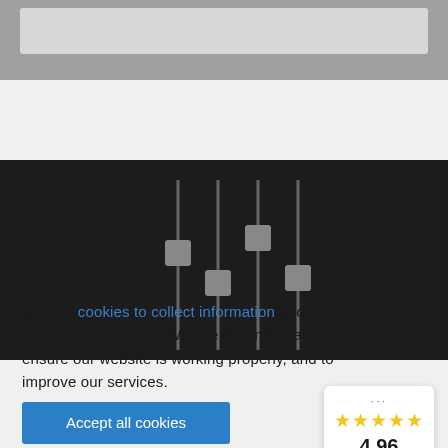[Figure (screenshot): Top gray navigation bar area with a lighter gray search/input bar element inside]
[Figure (screenshot): Dark band background with four vertical slider controls (equalizer/settings icon) rendered in gray on a near-black background]
We use cookies to collect information about how you use our website. We use this information to ensure our website is working properly, and to improve our services.
Accept all cookies
Only required cookies
[Figure (infographic): Rating widget showing 5 yellow stars, score 4.96, label Excellent, and a circular trust badge logo (e-commerce trust seal)]